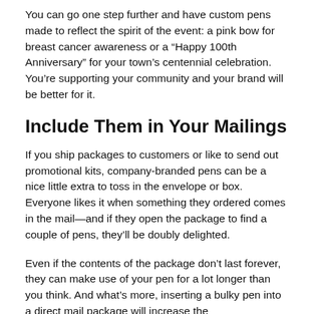You can go one step further and have custom pens made to reflect the spirit of the event: a pink bow for breast cancer awareness or a “Happy 100th Anniversary” for your town’s centennial celebration. You’re supporting your community and your brand will be better for it.
Include Them in Your Mailings
If you ship packages to customers or like to send out promotional kits, company-branded pens can be a nice little extra to toss in the envelope or box. Everyone likes it when something they ordered comes in the mail—and if they open the package to find a couple of pens, they’ll be doubly delighted.
Even if the contents of the package don’t last forever, they can make use of your pen for a lot longer than you think. And what’s more, inserting a bulky pen into a direct mail package will increase the